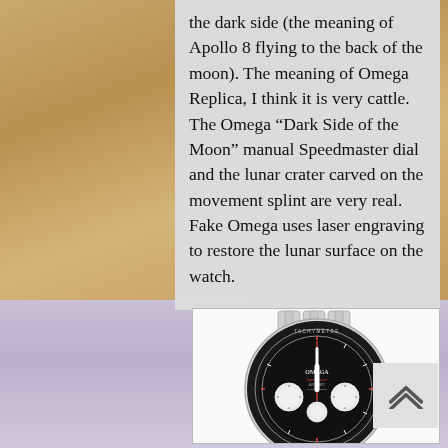the dark side (the meaning of Apollo 8 flying to the back of the moon). The meaning of Omega Replica, I think it is very cattle. The Omega “Dark Side of the Moon” manual Speedmaster dial and the lunar crater carved on the movement splint are very real. Fake Omega uses laser engraving to restore the lunar surface on the watch.
[Figure (photo): An Omega Speedmaster chronograph watch with stainless steel bracelet, black tachymetre bezel, black dial with white sub-dials and red accents, viewed from the front.]